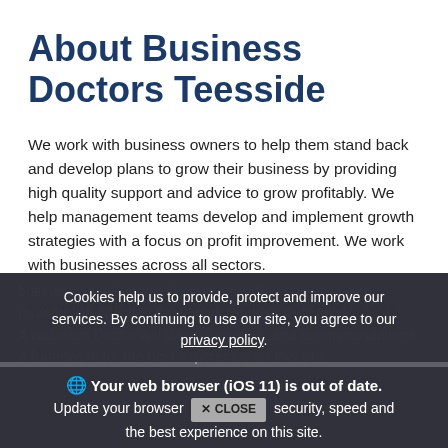About Business Doctors Teesside
We work with business owners to help them stand back and develop plans to grow their business by providing high quality support and advice to grow profitably. We help management teams develop and implement growth strategies with a focus on profit improvement. We work with businesses across all sectors.
Creating a strategy for growth helps you re-focus your
business on delivering the outcomes that you want and provides an effective framework for positive change. A Business Doctor will discuss options, and the best experience on this site.
Cookies help us to provide, protect and improve our services. By continuing to use our site, you agree to our privacy policy.
Your web browser (iOS 11) is out of date. Update your browser for more security, speed and the best experience on this site.